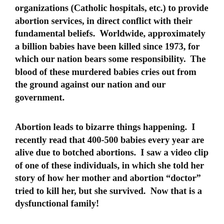organizations (Catholic hospitals, etc.) to provide abortion services, in direct conflict with their fundamental beliefs.  Worldwide, approximately a billion babies have been killed since 1973, for which our nation bears some responsibility.  The blood of these murdered babies cries out from the ground against our nation and our government.
Abortion leads to bizarre things happening.  I recently read that 400-500 babies every year are alive due to botched abortions.  I saw a video clip of one of these individuals, in which she told her story of how her mother and abortion “doctor” tried to kill her, but she survived.  Now that is a dysfunctional family!